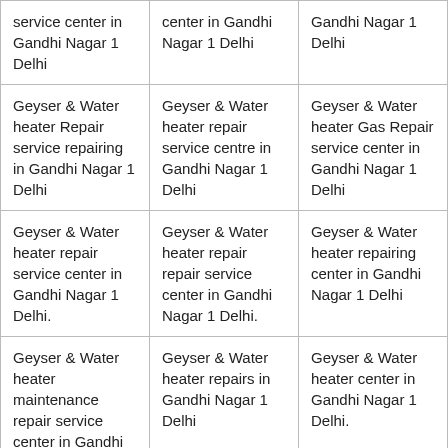| service center in Gandhi Nagar 1 Delhi | center in Gandhi Nagar 1 Delhi | Gandhi Nagar 1 Delhi |
| Geyser & Water heater Repair service repairing in Gandhi Nagar 1 Delhi | Geyser & Water heater repair service centre in Gandhi Nagar 1 Delhi | Geyser & Water heater Gas Repair service center in Gandhi Nagar 1 Delhi |
| Geyser & Water heater repair service center in Gandhi Nagar 1 Delhi. | Geyser & Water heater repair repair service center in Gandhi Nagar 1 Delhi. | Geyser & Water heater repairing center in Gandhi Nagar 1 Delhi |
| Geyser & Water heater maintenance repair service center in Gandhi Nagar 1 Delhi. | Geyser & Water heater repairs in Gandhi Nagar 1 Delhi | Geyser & Water heater center in Gandhi Nagar 1 Delhi. |
| Geyser & Water heater service... |  |  |